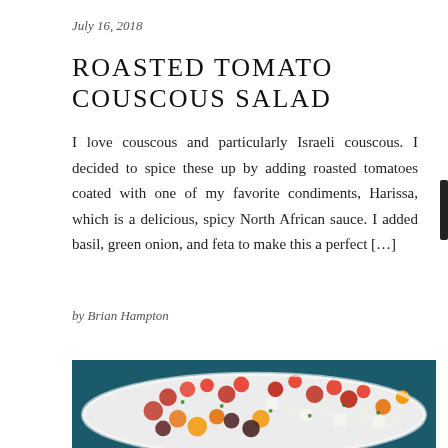July 16, 2018
ROASTED TOMATO COUSCOUS SALAD
I love couscous and particularly Israeli couscous. I decided to spice these up by adding roasted tomatoes coated with one of my favorite condiments, Harissa, which is a delicious, spicy North African sauce. I added basil, green onion, and feta to make this a perfect […]
by Brian Hampton
[Figure (photo): A white oval serving dish filled with roasted cherry tomatoes in various colors (red, yellow, dark/black), cubed white feta cheese, and fresh herbs, on a dark teal background.]